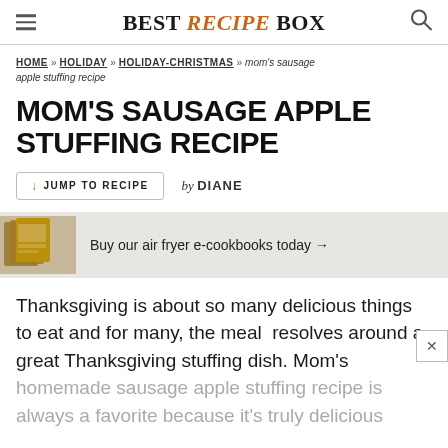BEST RECIPE BOX
HOME » HOLIDAY » HOLIDAY-CHRISTMAS » mom's sausage apple stuffing recipe
MOM'S SAUSAGE APPLE STUFFING RECIPE
↓ JUMP TO RECIPE   by DIANE
[Figure (infographic): Advertisement banner: cookbooks image with text 'Buy our air fryer e-cookbooks today →']
Thanksgiving is about so many delicious things to eat and for many, the meal  resolves around a great Thanksgiving stuffing dish. Mom's homemade sausage apple stuffing recipe is always a favorite because it's truly delicious